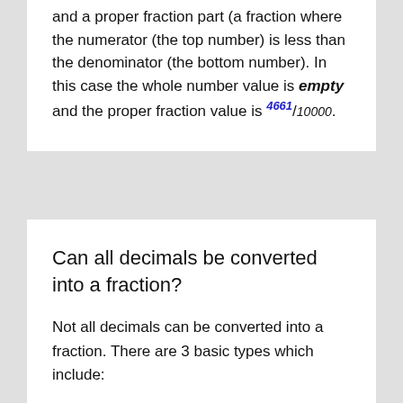and a proper fraction part (a fraction where the numerator (the top number) is less than the denominator (the bottom number). In this case the whole number value is empty and the proper fraction value is 4661/10000.
Can all decimals be converted into a fraction?
Not all decimals can be converted into a fraction. There are 3 basic types which include:
Terminating decimals have a limited number of digits after the decimal point.